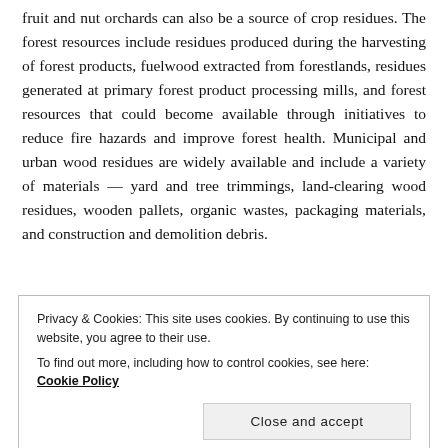fruit and nut orchards can also be a source of crop residues. The forest resources include residues produced during the harvesting of forest products, fuelwood extracted from forestlands, residues generated at primary forest product processing mills, and forest resources that could become available through initiatives to reduce fire hazards and improve forest health. Municipal and urban wood residues are widely available and include a variety of materials — yard and tree trimmings, land-clearing wood residues, wooden pallets, organic wastes, packaging materials, and construction and demolition debris.
Privacy & Cookies: This site uses cookies. By continuing to use this website, you agree to their use.
To find out more, including how to control cookies, see here: Cookie Policy
many priorities, including sustainability, reduction of